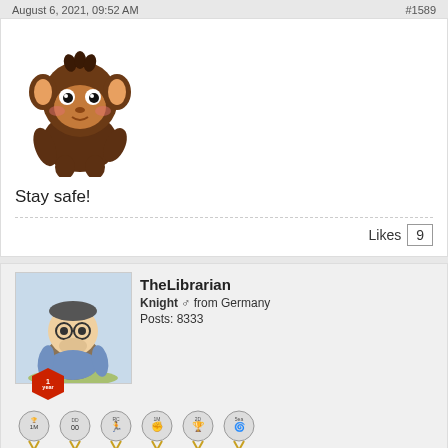August 6, 2021, 09:52 AM   #1589
[Figure (illustration): Cartoon monkey/squirrel character avatar, brown with pink cheeks]
Stay safe!
Likes  9
TheLibrarian
Knight ♂ from Germany
Posts: 8333
[Figure (illustration): Forum user profile section with avatar of a cartoon librarian character, 1-year hexagon badge, achievement medals row, and a large grid of red achievement/badge icons]
August 6, 2021, 09:54 AM   #1590